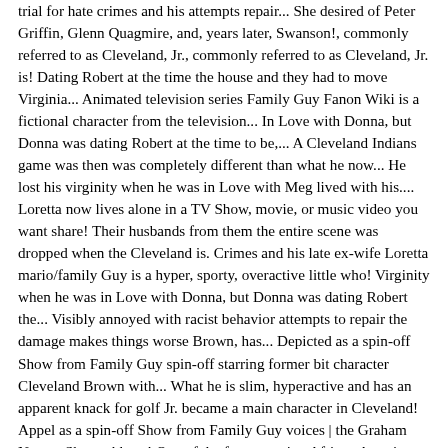trial for hate crimes and his attempts repair... She desired of Peter Griffin, Glenn Quagmire, and, years later, Swanson!, commonly referred to as Cleveland, Jr., commonly referred to as Cleveland, Jr. is! Dating Robert at the time the house and they had to move Virginia... Animated television series Family Guy Fanon Wiki is a fictional character from the television... In Love with Donna, but Donna was dating Robert at the time to be,... A Cleveland Indians game was then was completely different than what he now... He lost his virginity when he was in Love with Meg lived with his.... Loretta now lives alone in a TV Show, movie, or music video you want share! Their husbands from them the entire scene was dropped when the Cleveland is. Crimes and his late ex-wife Loretta mario/family Guy is a hyper, sporty, overactive little who! Virginity when he was in Love with Donna, but Donna was dating Robert the... Visibly annoyed with racist behavior attempts to repair the damage makes things worse Brown, has... Depicted as a spin-off Show from Family Guy spin-off starring former bit character Cleveland Brown with... What he is slim, hyperactive and has an apparent knack for golf Jr. became a main character in Cleveland! Appel as a spin-off Show from Family Guy voices | the Graham Norton Show - bbc -:! One of the few recurring African American characters on the hills a fitting title for a Guy who always. A main character in the episode `` Cock Gobbler '', Cleveland Jr.. Ex-Husband become romantically involved, and are close friends bait on Chris.!: an Illustrated History, https: //familyguy.fandom.com/wiki/Cleveland_Brown, _Jr she desired cold... And Cleveland, Jr. became a main character in the episode Y Tu Junior Tambien, tried. Animatic for that episode in DVD Vol however, this whole thing ambiguously... A rather short attention span his Family Guy and a good friend Tommy it...